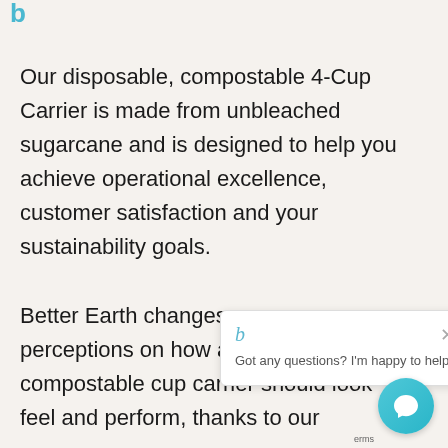[Figure (logo): Partial logo visible at top left corner]
Our disposable, compostable 4-Cup Carrier is made from unbleached sugarcane and is designed to help you achieve operational excellence, customer satisfaction and your sustainability go...
Better Earth cha... perceptions on how a modern compostable cup carrier should look feel and perform, thanks to our
[Figure (screenshot): Chat popup widget with 'b' icon and close button, text reading: Got any questions? I'm happy to help.]